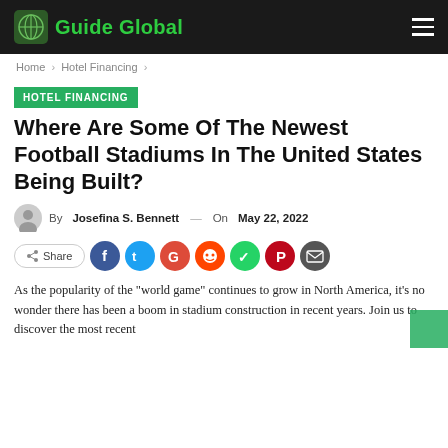Guide Global
Home > Hotel Financing >
HOTEL FINANCING
Where Are Some Of The Newest Football Stadiums In The United States Being Built?
By Josefina S. Bennett — On May 22, 2022
Share [social icons: Facebook, Twitter, Google, Reddit, WhatsApp, Pinterest, Email]
As the popularity of the “world game” continues to grow in North America, it’s no wonder there has been a boom in stadium construction in recent years. Join us to discover the most recent